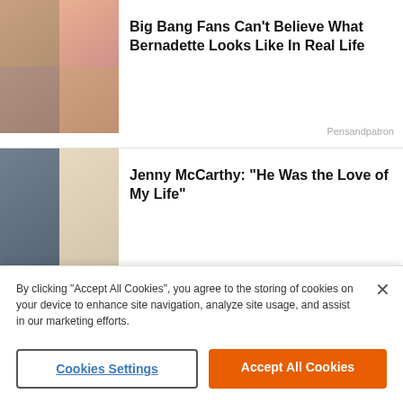[Figure (photo): Thumbnail collage of two women for Big Bang Theory article]
Big Bang Fans Can't Believe What Bernadette Looks Like In Real Life
Pensandpatron
[Figure (photo): Thumbnail of a man and a blonde woman for Jenny McCarthy article]
Jenny McCarthy: "He Was the Love of My Life"
Freshedits
[Figure (photo): Thumbnail of a blonde woman and Rodney Dangerfield for One-Liners article]
One-Liners of Rodney Dangerfield That Went Too Far
Freshedits
[Figure (photo): Thumbnail of a woman in water for Samantha Fox article]
Samantha Fox Is Almost 55 - This Is Her Now
Pensandpatron
[Figure (photo): Thumbnail of a blonde woman for Carrie Underwood article]
Carrie Underwood is
By clicking "Accept All Cookies", you agree to the storing of cookies on your device to enhance site navigation, analyze site usage, and assist in our marketing efforts.
Cookies Settings
Accept All Cookies